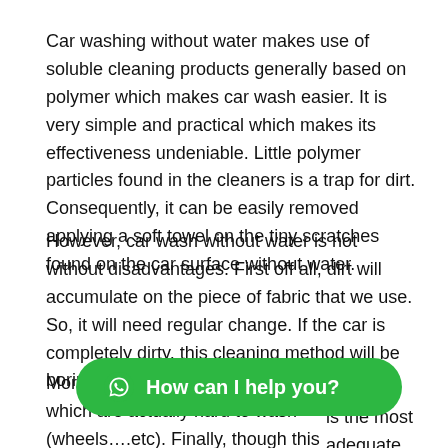Car washing without water makes use of soluble cleaning products generally based on polymer which makes car wash easier. It is very simple and practical which makes its effectiveness undeniable. Little polymer particles found in the cleaners is a trap for dirt. Consequently, it can be easily removed applying a soft towel on the tiny scratches found on the car surface without water.
However, car wash without water is not without disadvantages. First off all, dirt will accumulate on the piece of fabric that we use. So, it will need regular change. If the car is completely dirty, this cleaning method will be boring and needs extra time.
More than that, the car contains many areas which are actually hard to wash (wheels….etc). Finally, though this [obscured] is the most adequate.
[Figure (other): Green WhatsApp chat button with text 'How can I help you?']